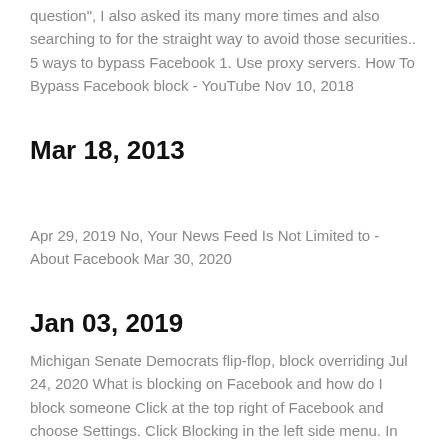question", I also asked its many more times and also searching to for the straight way to avoid those securities.. 5 ways to bypass Facebook 1. Use proxy servers. How To Bypass Facebook block - YouTube Nov 10, 2018
Mar 18, 2013
Apr 29, 2019 No, Your News Feed Is Not Limited to - About Facebook Mar 30, 2020
Jan 03, 2019
Michigan Senate Democrats flip-flop, block overriding Jul 24, 2020 What is blocking on Facebook and how do I block someone Click at the top right of Facebook and choose Settings. Click Blocking in the left side menu. In the Block users section, enter the name of the person you want to block and click Block. Select the specific person you want to block from the list that appears and click Block.. Block [name]. How